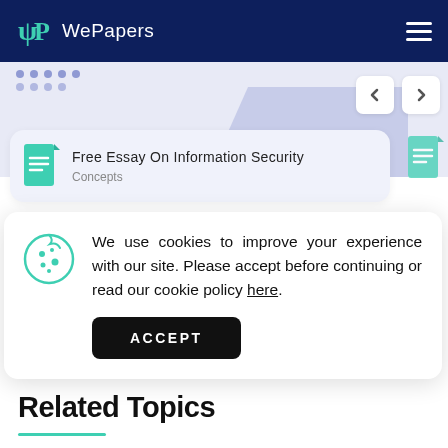WePapers
[Figure (illustration): Banner background with decorative dots and navigation arrows]
Free Essay On Information Security Concepts
[Figure (screenshot): Cookie consent popup with cookie icon, text about improving experience, and ACCEPT button]
We use cookies to improve your experience with our site. Please accept before continuing or read our cookie policy here.
Related Topics